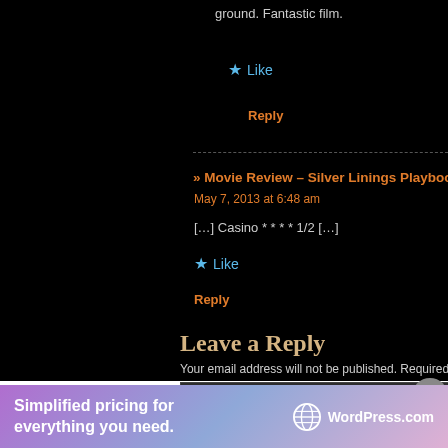ground. Fantastic film.
★ Like
Reply
» Movie Review – Silver Linings Playbook Ferr
May 7, 2013 at 6:48 am
[…] Casino * * * * 1/2 […]
★ Like
Reply
Leave a Reply
Your email address will not be published. Required fields
Advertisements
[Figure (infographic): WordPress.com advertisement banner: 'Simplified pricing for everything you need.' with WordPress.com logo]